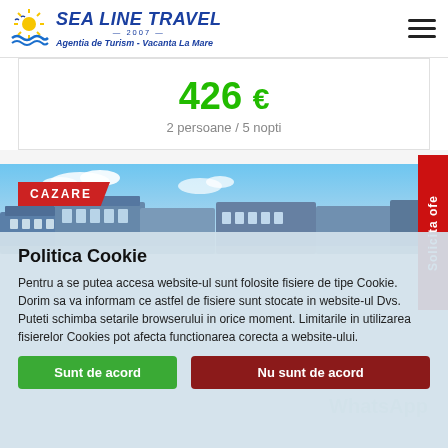[Figure (logo): Sea Line Travel logo with sun/waves icon and text 'SEA LINE TRAVEL 2007 Agentia de Turism - Vacanta La Mare']
426 €
2 persoane / 5 nopti
[Figure (photo): Hotel/resort building against blue sky, with red 'CAZARE' label overlay]
Politica Cookie
Pentru a se putea accesa website-ul sunt folosite fisiere de tipe Cookie. Dorim sa va informam ce astfel de fisiere sunt stocate in website-ul Dvs.
Puteti schimba setarile browserului in orice moment. Limitarile in utilizarea fisierelor Cookies pot afecta functionarea corecta a website-ului.
Sunt de acord
Nu sunt de acord